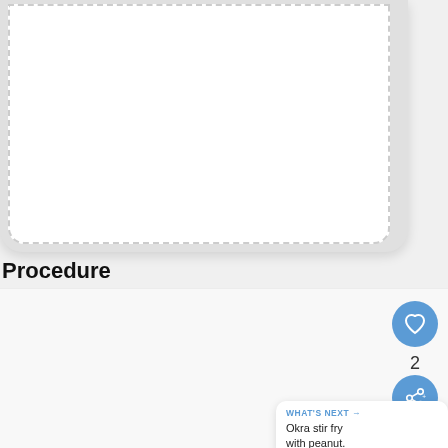[Figure (screenshot): Top card with dashed border on light gray rounded rectangle background, showing a white content area (image/content clipped at top)]
Procedure
[Figure (screenshot): Bottom section showing a recipe procedure area with a heart/favorite button (blue circle with heart icon), share button (blue circle with share icon), count '2', and a 'WHAT'S NEXT' card showing 'Okra stir fry with peanut.']